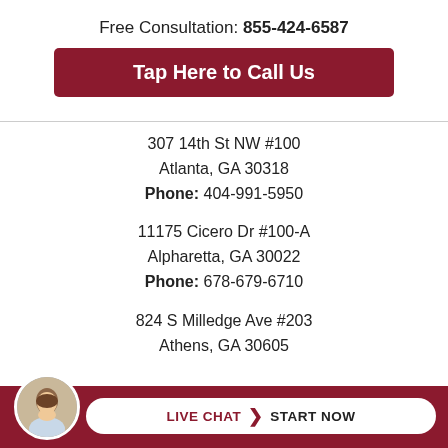Free Consultation: 855-424-6587
Tap Here to Call Us
307 14th St NW #100
Atlanta, GA 30318
Phone: 404-991-5950
11175 Cicero Dr #100-A
Alpharetta, GA 30022
Phone: 678-679-6710
824 S Milledge Ave #203
Athens, GA 30605
LIVE CHAT  START NOW